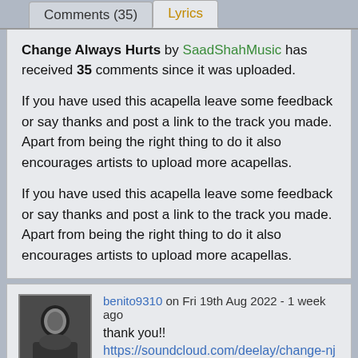Comments (35)   Lyrics
Change Always Hurts by SaadShahMusic has received 35 comments since it was uploaded.

If you have used this acapella leave some feedback or say thanks and post a link to the track you made. Apart from being the right thing to do it also encourages artists to upload more acapellas.

If you have used this acapella leave some feedback or say thanks and post a link to the track you made. Apart from being the right thing to do it also encourages artists to upload more acapellas.
benito9310 on Fri 19th Aug 2022 - 1 week ago
thank you!!
https://soundcloud.com/deelay/change-nj-saadshahmusic-vinnybee-deelay-edit?